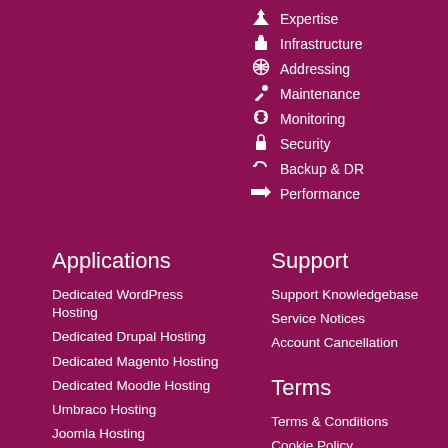Expertise
Infrastructure
Addressing
Maintenance
Monitoring
Security
Backup & DR
Performance
Applications
Dedicated WordPress Hosting
Dedicated Drupal Hosting
Dedicated Magento Hosting
Dedicated Moodle Hosting
Umbraco Hosting
Joomla Hosting
DotNetNuke Hosting
Support
Support Knowledgebase
Service Notices
Account Cancellation
Terms
Terms & Conditions
Cookie Policy
Privacy Policy